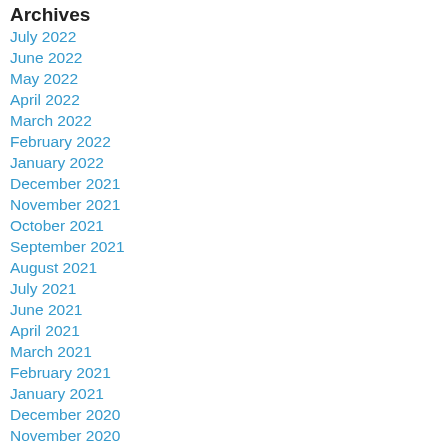Archives
July 2022
June 2022
May 2022
April 2022
March 2022
February 2022
January 2022
December 2021
November 2021
October 2021
September 2021
August 2021
July 2021
June 2021
April 2021
March 2021
February 2021
January 2021
December 2020
November 2020